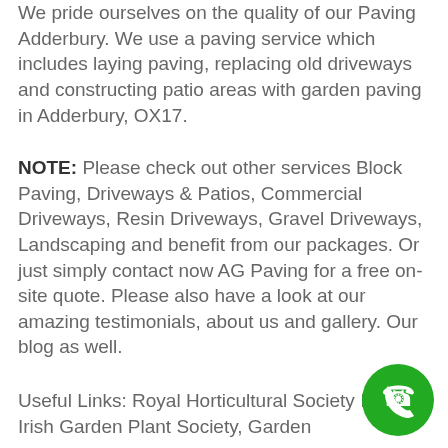We pride ourselves on the quality of our Paving Adderbury. We use a paving service which includes laying paving, replacing old driveways and constructing patio areas with garden paving in Adderbury, OX17.
NOTE: Please check out other services Block Paving, Driveways & Patios, Commercial Driveways, Resin Driveways, Gravel Driveways, Landscaping and benefit from our packages. Or just simply contact now AG Paving for a free on-site quote. Please also have a look at our amazing testimonials, about us and gallery. Our blog as well.
Useful Links: Royal Horticultural Society Ireland, Irish Garden Plant Society, Garden